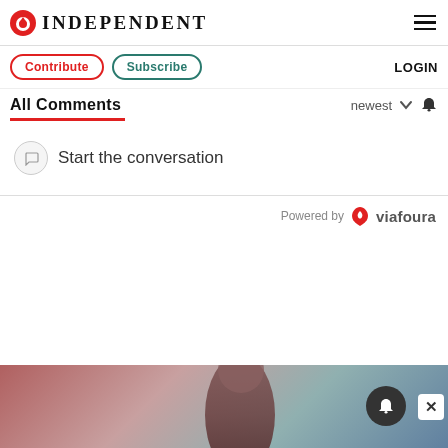INDEPENDENT
Contribute   Subscribe   LOGIN
All Comments
newest
Start the conversation
Powered by viafoura
[Figure (photo): Advertisement banner with person silhouette on reddish background]